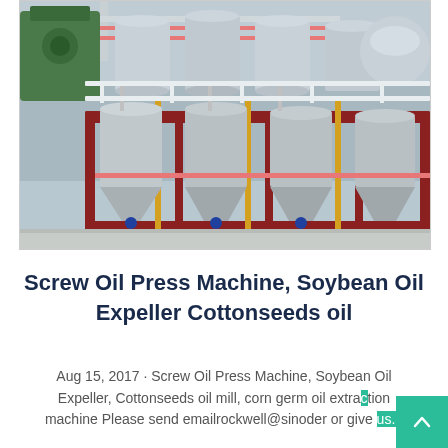[Figure (photo): Industrial oil press machinery installation in a factory setting. Large metal tanks and processing equipment with red metal frame structure, piping with yellow and red accents, multiple conical tanks on a platform.]
Screw Oil Press Machine, Soybean Oil Expeller Cottonseeds oil
Aug 15, 2017 · Screw Oil Press Machine, Soybean Oil Expeller, Cottonseeds oil mill, corn germ oil extraction machine Please send emailrockwell@sinoder or give us...